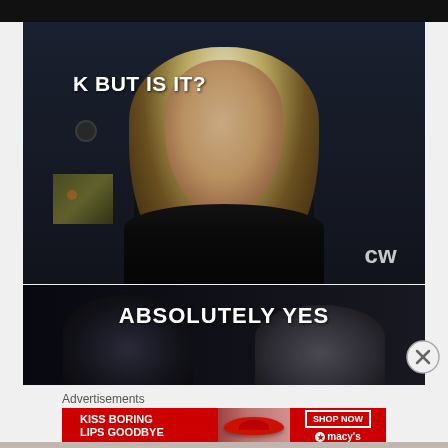[Figure (screenshot): TV screenshot showing a blonde woman with the text overlay 'K BUT IS IT?' and CW network logo in bottom right]
[Figure (screenshot): TV screenshot showing two people with the text overlay 'ABSOLUTELY YES']
Advertisements
[Figure (photo): Macy's advertisement banner reading 'KISS BORING LIPS GOODBYE' with a woman's face and red lips, SHOP NOW button, and Macy's star logo]